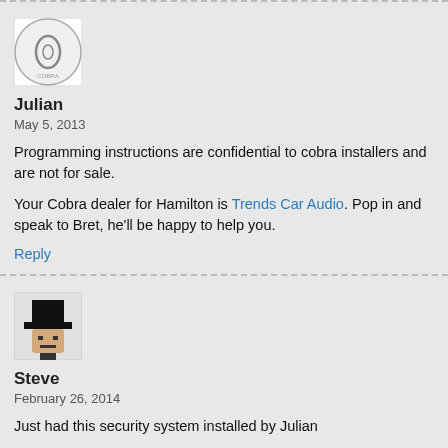[Figure (illustration): Circular avatar/logo for user Julian — circular badge with a small oval/zero shape in the center on white background]
Julian
May 5, 2013
Programming instructions are confidential to cobra installers and are not for sale.
Your Cobra dealer for Hamilton is Trends Car Audio. Pop in and speak to Bret, he'll be happy to help you.
Reply
[Figure (illustration): Square avatar for user Steve — cartoon figure with black hat and simple face]
Steve
February 26, 2014
Just had this security system installed by Julian
Not an easy decision for me to get anyone to fit a security system to my car having had over 10 years of experience doing